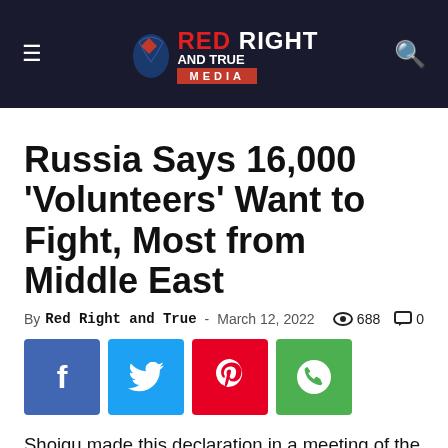Red Right and True Media
Russia Says 16,000 'Volunteers' Want to Fight, Most from Middle East
By Red Right and True - March 12, 2022   688   0
[Figure (other): Social media share buttons: Facebook, Twitter, Pinterest, WhatsApp]
Shoigu made this declaration in a meeting of the Russian Security Council, according to the Russian news agency Tass, which noted that Russian leader Vladimir Putin was present and approved helping these foreign fighters enter the Ukrainian war theater. Putin